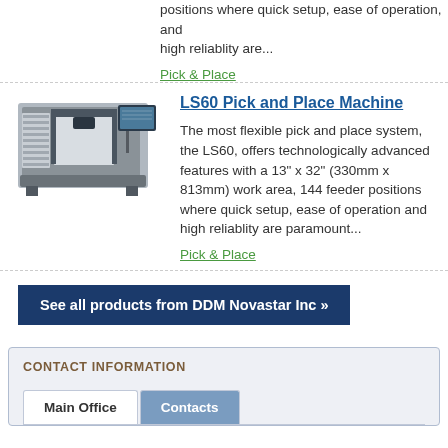positions where quick setup, ease of operation, and high reliablity are...
Pick & Place
LS60 Pick and Place Machine
[Figure (photo): Photo of LS60 Pick and Place Machine, an industrial SMT machine with monitor]
The most flexible pick and place system, the LS60, offers technologically advanced features with a 13" x 32"  (330mm x 813mm) work area, 144 feeder positions where quick setup, ease of operation and high reliablity are paramount...
Pick & Place
See all products from DDM Novastar Inc »
CONTACT INFORMATION
Main Office
Contacts